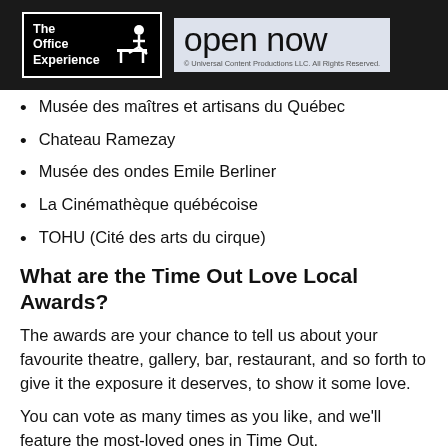[Figure (logo): The Office Experience logo with icon on black background, alongside 'open now' text and Universal Content Productions copyright line]
Musée des maîtres et artisans du Québec
Chateau Ramezay
Musée des ondes Emile Berliner
La Cinémathèque québécoise
TOHU (Cité des arts du cirque)
What are the Time Out Love Local Awards?
The awards are your chance to tell us about your favourite theatre, gallery, bar, restaurant, and so forth to give it the exposure it deserves, to show it some love.
You can vote as many times as you like, and we'll feature the most-loved ones in Time Out.
Where can I vote?